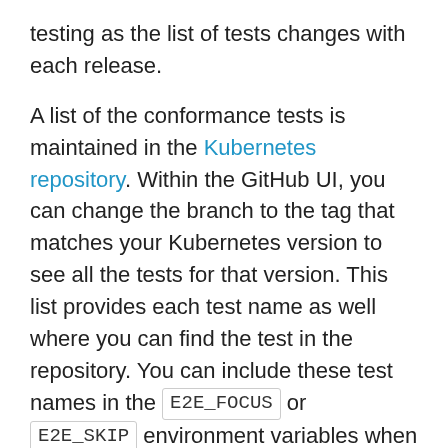testing as the list of tests changes with each release.
A list of the conformance tests is maintained in the Kubernetes repository. Within the GitHub UI, you can change the branch to the tag that matches your Kubernetes version to see all the tests for that version. This list provides each test name as well where you can find the test in the repository. You can include these test names in the E2E_FOCUS or E2E_SKIP environment variables when running the plugin.
Although the default behavior is to